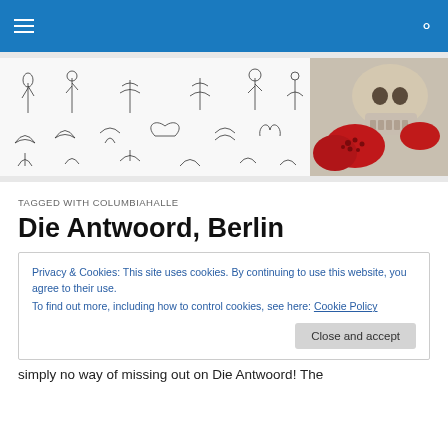Navigation bar with menu icon and search icon
[Figure (illustration): Banner image showing botanical/decorative ink illustrations on white background on the left, and a skull with pomegranates (red fruit) on the right portion]
TAGGED WITH COLUMBIAHALLE
Die Antwoord, Berlin
Privacy & Cookies: This site uses cookies. By continuing to use this website, you agree to their use.
To find out more, including how to control cookies, see here: Cookie Policy
Close and accept
simply no way of missing out on Die Antwoord! The